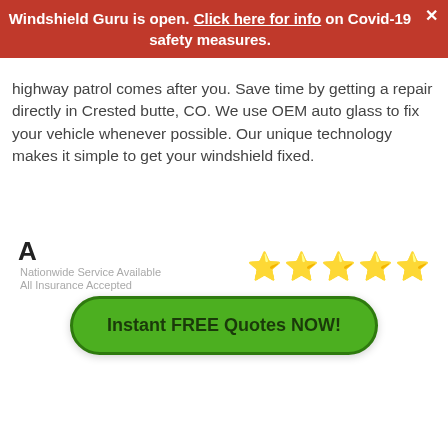Windshield Guru is open. Click here for info on Covid-19 safety measures.
highway patrol comes after you. Save time by getting a repair directly in Crested butte, CO. We use OEM auto glass to fix your vehicle whenever possible. Our unique technology makes it simple to get your windshield fixed.
[Figure (logo): Letter A logo with text 'Nationwide Service Available' and 'All Insurance Accepted' below]
[Figure (other): Five gold star rating icons]
Instant FREE Quotes NOW!